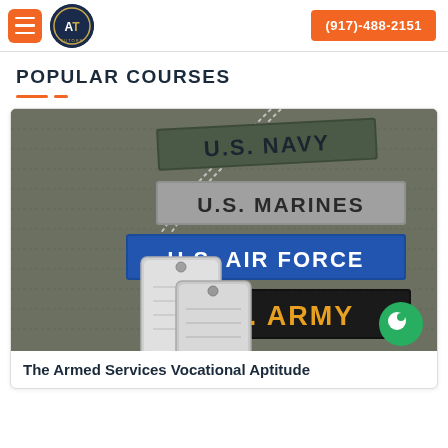(917)-488-2151
POPULAR COURSES
[Figure (photo): Military branch patches (U.S. Navy, U.S. Marines, U.S. Air Force, U.S. Army) with dog tags on a green background]
The Armed Services Vocational Aptitude